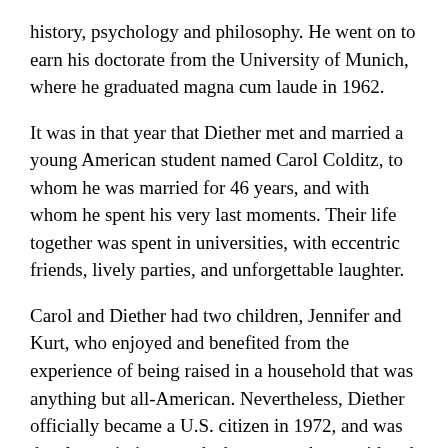history, psychology and philosophy. He went on to earn his doctorate from the University of Munich, where he graduated magna cum laude in 1962.
It was in that year that Diether met and married a young American student named Carol Colditz, to whom he was married for 46 years, and with whom he spent his very last moments. Their life together was spent in universities, with eccentric friends, lively parties, and unforgettable laughter.
Carol and Diether had two children, Jennifer and Kurt, who enjoyed and benefited from the experience of being raised in a household that was anything but all-American. Nevertheless, Diether officially became a U.S. citizen in 1972, and was deeply patriotic towards the country he considered to be the greatest in the world. In fact, Diether was known for his arguments with Europeans who derided America. It was never a good idea to tell him that his adopted country “had no culture.”